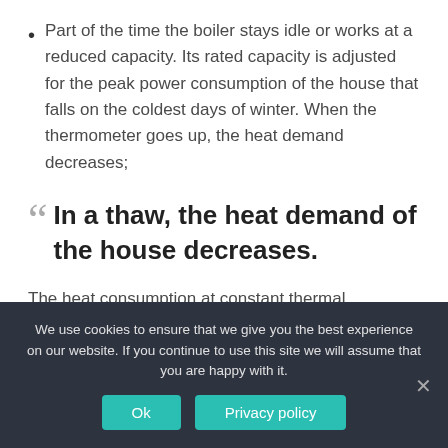Part of the time the boiler stays idle or works at a reduced capacity. Its rated capacity is adjusted for the peak power consumption of the house that falls on the coldest days of winter. When the thermometer goes up, the heat demand decreases;
In a thaw, the heat demand of the house decreases.
The heat consumption at constant thermal conductivity of the walls is directly proportional to the temperature difference between the house and the street. It will decrease not only when the outdoor temperature rises
We use cookies to ensure that we give you the best experience on our website. If you continue to use this site we will assume that you are happy with it.